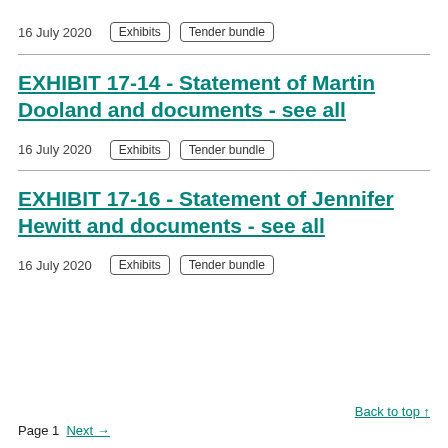16 July 2020   Exhibits   Tender bundle
EXHIBIT 17-14 - Statement of Martin Dooland and documents - see all
16 July 2020   Exhibits   Tender bundle
EXHIBIT 17-16 - Statement of Jennifer Hewitt and documents - see all
16 July 2020   Exhibits   Tender bundle
Back to top ↑   Page 1   Next →